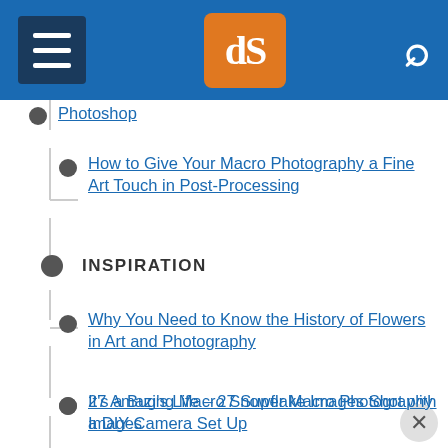[Figure (screenshot): Website navigation header bar with hamburger menu, dPS logo in orange box, and search icon on blue background]
Photoshop
How to Give Your Macro Photography a Fine Art Touch in Post-Processing
INSPIRATION
Why You Need to Know the History of Flowers in Art and Photography
27 Amazing Macro Snowflake Images Shot with a DIY Camera Set Up
It's a Bug's Life – 27 Super Macro Photography Images
41 Delicious Flower Photographs